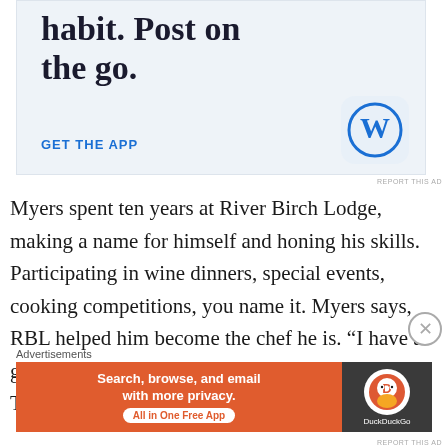[Figure (other): WordPress app advertisement banner with large text 'habit. Post on the go.' and 'GET THE APP' link with WordPress logo]
Myers spent ten years at River Birch Lodge, making a name for himself and honing his skills. Participating in wine dinners, special events, cooking competitions, you name it. Myers says, RBL helped him become the chef he is. “I have a great relationship with them, even after leaving. They witnessed everything major in my adult life
[Figure (other): DuckDuckGo advertisement banner: 'Search, browse, and email with more privacy. All in One Free App' with DuckDuckGo logo on dark background]